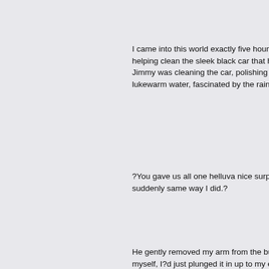I came into this world exactly five hours a helping clean the sleek black car that he u Jimmy was cleaning the car, polishing it w lukewarm water, fascinated by the rainbo
?You gave us all one helluva nice surprise suddenly same way I did.?
He gently removed my arm from the buck myself, I?d just plunged it in up to my elb towel from the car's bonnet and quickly to
?What am I gonna do with you???
?Dunno!? I giggled back my usual respon
?Did I bring choc'late??? I queried as I ju
?What??? Jimmy looked baffled.
?Nanny says don't say what, say pardon a
?Oh, Daz, sure and you'll be the death of